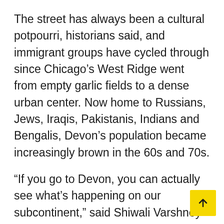The street has always been a cultural potpourri, historians said, and immigrant groups have cycled through since Chicago's West Ridge went from empty garlic fields to a dense urban center. Now home to Russians, Jews, Iraqis, Pakistanis, Indians and Bengalis, Devon's population became increasingly brown in the 60s and 70s.
“If you go to Devon, you can actually see what’s happening on our subcontinent,” said Shiwali Varshney Tenner, 47, who has lived in Chicago for almost 20 years years. “When Rohingya Muslims were being expelled, you could see quite a few of them there.”